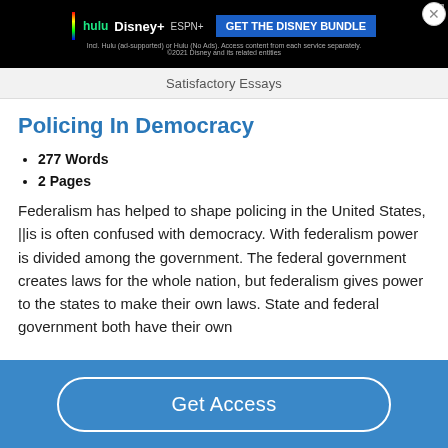[Figure (screenshot): Disney Bundle advertisement banner with Hulu, Disney+, and ESPN+ logos and 'GET THE DISNEY BUNDLE' call to action button]
Satisfactory Essays
Policing In Democracy
277 Words
2 Pages
Federalism has helped to shape policing in the United States, ||is is often confused with democracy. With federalism power is divided among the government. The federal government creates laws for the whole nation, but federalism gives power to the states to make their own laws. State and federal government both have their own
Get Access